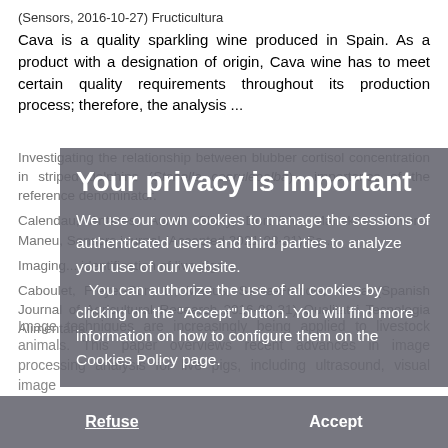(Sensors, 2016-10-27) Fructicultura
Cava is a quality sparkling wine produced in Spain. As a product with a designation of origin, Cava wine has to meet certain quality requirements throughout its production process; therefore, the analysis ...
Investigating the relationship between blubber cortisol concentration in striped dolphins (Stenella coeruleoalba)... importance of the reference denominator.
Calendau, Antares, Aureli, Sitory, Dorotildo, Mahakos, Olivera-Maneu, Se... (Sensors journal) (Accepted 2021-08-21) Sa...
Imaging... identification of live pigs... Caboulet, Freyer-Sun, Li, Marius, Santa-Fumols, Maria (Spanish Journal of Agricultural Research 2016-08-31) Qualitat i Tecnologia Alimentária
[Figure (other): Privacy consent overlay with title 'Your privacy is important', body text about cookies policy, and Refuse/Accept buttons at bottom]
Image techniques are increasingly being applied to livestock animals. This paper overviews recent advances in image processing analysis for live pigs, including ultrasound, visual image